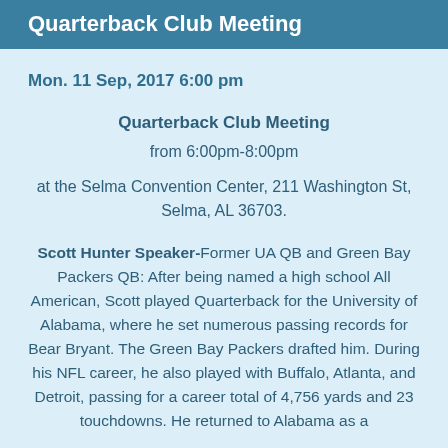Quarterback Club Meeting
Mon. 11 Sep, 2017 6:00 pm
Quarterback Club Meeting
from 6:00pm-8:00pm
at the Selma Convention Center, 211 Washington St, Selma, AL 36703.
Scott Hunter Speaker-Former UA QB and Green Bay Packers QB: After being named a high school All American, Scott played Quarterback for the University of Alabama, where he set numerous passing records for Bear Bryant. The Green Bay Packers drafted him. During his NFL career, he also played with Buffalo, Atlanta, and Detroit, passing for a career total of 4,756 yards and 23 touchdowns. He returned to Alabama as a